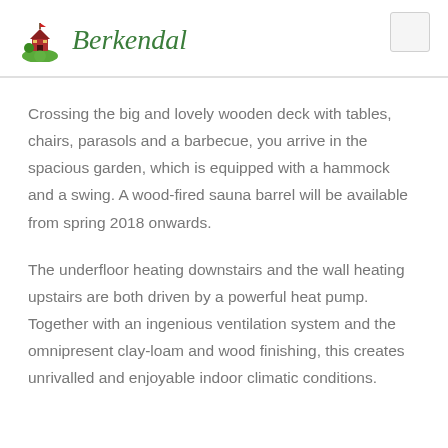Berkendal
Crossing the big and lovely wooden deck with tables, chairs, parasols and a barbecue, you arrive in the spacious garden, which is equipped with a hammock and a swing. A wood-fired sauna barrel will be available from spring 2018 onwards.
The underfloor heating downstairs and the wall heating upstairs are both driven by a powerful heat pump. Together with an ingenious ventilation system and the omnipresent clay-loam and wood finishing, this creates unrivalled and enjoyable indoor climatic conditions.